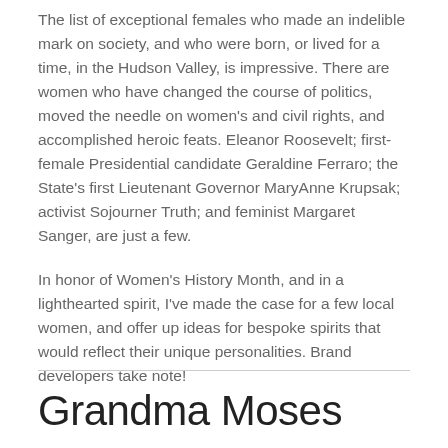The list of exceptional females who made an indelible mark on society, and who were born, or lived for a time, in the Hudson Valley, is impressive. There are women who have changed the course of politics, moved the needle on women's and civil rights, and accomplished heroic feats. Eleanor Roosevelt; first-female Presidential candidate Geraldine Ferraro; the State's first Lieutenant Governor MaryAnne Krupsak; activist Sojourner Truth; and feminist Margaret Sanger, are just a few.
In honor of Women's History Month, and in a lighthearted spirit, I've made the case for a few local women, and offer up ideas for bespoke spirits that would reflect their unique personalities. Brand developers take note!
Grandma Moses